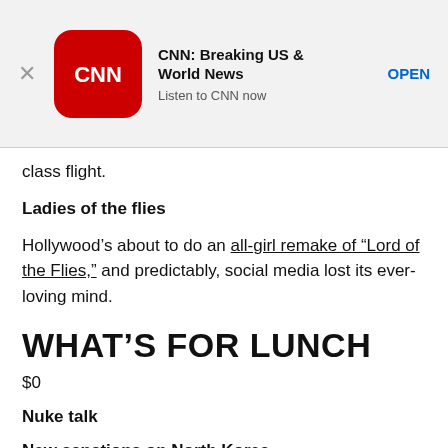[Figure (other): CNN app advertisement banner with close button (X), CNN red rounded square logo, title 'CNN: Breaking US & World News', subtitle 'Listen to CNN now', and 'OPEN' link button]
class flight.
Ladies of the flies
Hollywood’s about to do an all-girl remake of “Lord of the Flies,” and predictably, social media lost its ever-loving mind.
WHAT’S FOR LUNCH
$0
Nuke talk
New sanctions on North Korea